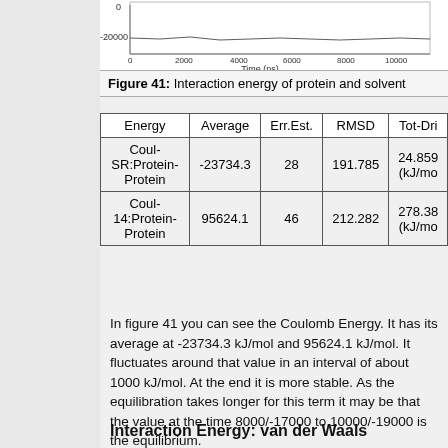[Figure (continuous-plot): Partial view of a time-series plot showing interaction energy of protein and solvent. Y-axis shows values around -20000, x-axis shows Time (ps) from 0 to 10000.]
Figure 41: Interaction energy of protein and solvent
| Energy | Average | Err.Est. | RMSD | Tot-Dri... |
| --- | --- | --- | --- | --- |
| Coul-SR:Protein-Protein | -23734.3 | 28 | 191.785 | 24.859 (kJ/mo... |
| Coul-14:Protein-Protein | 95624.1 | 46 | 212.282 | 278.38 (kJ/mo... |
In figure 41 you can see the Coulomb Energy. It has its average at -23734.3 kJ/mol and 95624.1 kJ/mol. It fluctuates around that value in an interval of about 1000 kJ/mol. At the end it is more stable. As the equilibration takes longer for this term it may be that the value at the time 8000/-17000 to 10000/-19000 is the equilibrium.
Interaction Energy: van der Waals